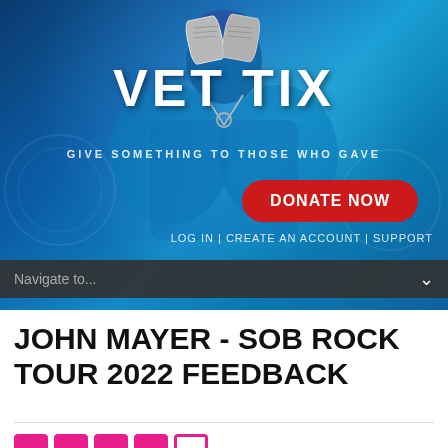[Figure (photo): Vet Tix website banner showing a soldier from behind wearing dog tags, with blue digital camouflage background. Large white 'VET TIX' logo text with dog tags icon between words. Tagline 'GIVE SOMETHING TO THOSE WHO GAVE'. Red 'DONATE NOW' button. Navigation links 'LOG IN | CREATE AN ACCOUNT | SUPPORT'. Dark navigation bar with 'Navigate to...' dropdown.]
JOHN MAYER - SOB ROCK TOUR 2022 FEEDBACK